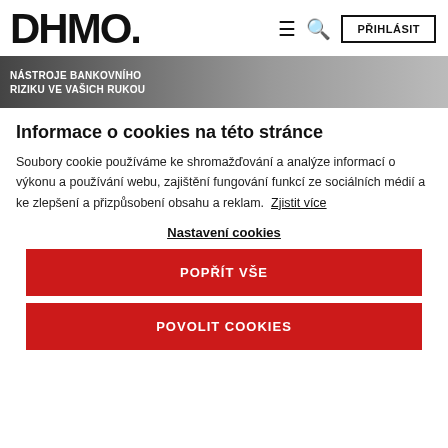DHMO. | PŘIHLÁSIT
[Figure (photo): Hero banner with text NÁSTROJE BANKOVNÍHO RIZIKU VE VAŠICH RUKOU over a grey/white background]
Informace o cookies na této stránce
Soubory cookie používáme ke shromažďování a analýze informací o výkonu a používání webu, zajištění fungování funkcí ze sociálních médií a ke zlepšení a přizpůsobení obsahu a reklam.  Zjistit více
Nastavení cookies
POPŘÍT VŠE
POVOLIT COOKIES